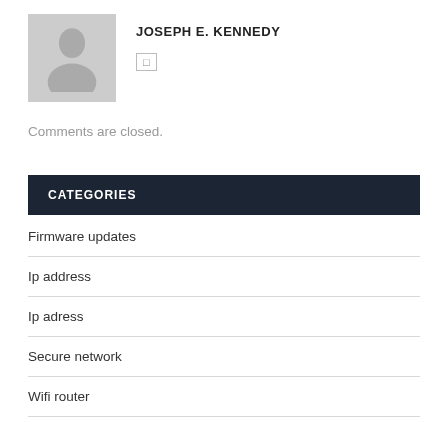[Figure (illustration): Gray placeholder avatar icon showing a silhouette of a person (head and shoulders) on a light gray square background]
JOSEPH E. KENNEDY
□
Comments are closed.
CATEGORIES
Firmware updates
Ip address
Ip adress
Secure network
Wifi router